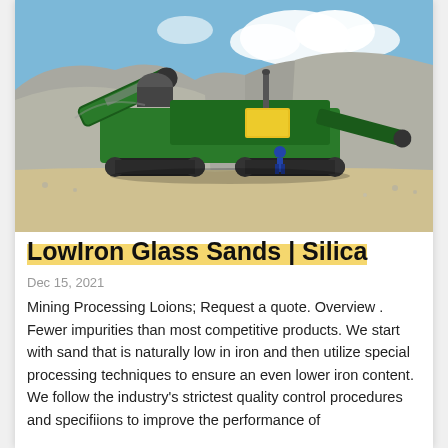[Figure (photo): A large green mobile rock crushing/screening machine operating at a quarry or gravel pit, surrounded by piles of grey stone/gravel under a partly cloudy blue sky. A worker in blue is visible near the machine.]
LowIron Glass Sands | Silica
Dec 15, 2021
Mining Processing Loions; Request a quote. Overview . Fewer impurities than most competitive products. We start with sand that is naturally low in iron and then utilize special processing techniques to ensure an even lower iron content. We follow the industry's strictest quality control procedures and specifiions to improve the performance of